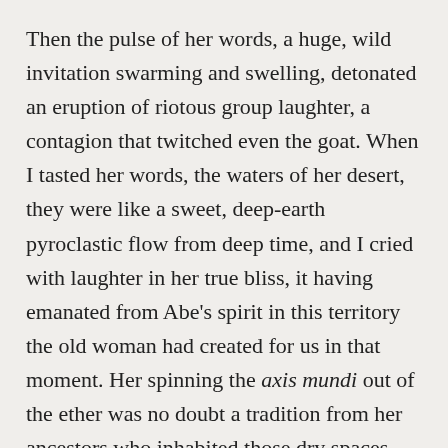Then the pulse of her words, a huge, wild invitation swarming and swelling, detonated an eruption of riotous group laughter, a contagion that twitched even the goat. When I tasted her words, the waters of her desert, they were like a sweet, deep-earth pyroclastic flow from deep time, and I cried with laughter in her true bliss, it having emanated from Abe's spirit in this territory the old woman had created for us in that moment. Her spinning the axis mundi out of the ether was no doubt a tradition from her ancestors who inhabited those dry spaces that nurtured humanity out of rocks and dust. For a moment I got to know the heart of this tribe and the time-stretched feeling of belonging.
Even now I'm coming to know the dead as they fall into the past and at the same time I feel feel the groove of the road behind of me, the radiance of an